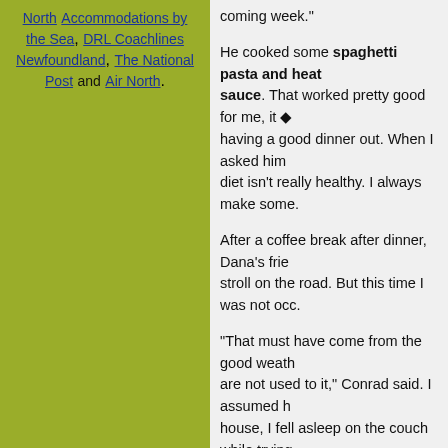North Accommodations by the Sea, DRL Coachlines Newfoundland, The National Post and Air North.
He cooked some spaghetti pasta and heat sauce. That worked pretty good for me, it having a good dinner out. When I asked him diet isn't really healthy. I always make some.
After a coffee break after dinner, Dana's frie stroll on the road. But this time I was not occ.
"That must have come from the good weath are not used to it," Conrad said. I assumed house, I fell asleep on the couch while trying on the CBC Radio.
I was awake when they returned, but had to got myself to my bed. It was just past 10pm,
"Shall I wake you tomorrow early morning? round!" Dana said.
"Sure thing, count me in!" I said. A few minu
Good night Deer Island!
Ramon.